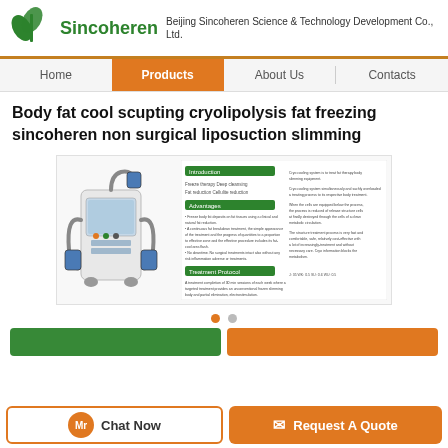Beijing Sincoheren Science & Technology Development Co., Ltd.
Body fat cool scupting cryolipolysis fat freezing sincoheren non surgical liposuction slimming
[Figure (photo): Product image of a cryolipolysis body fat freezing machine with multiple handles/applicators, alongside a product specification brochure with green section headers showing Introduction, Advantages, and Treatment Protocol sections with text and images.]
Chat Now
Request A Quote